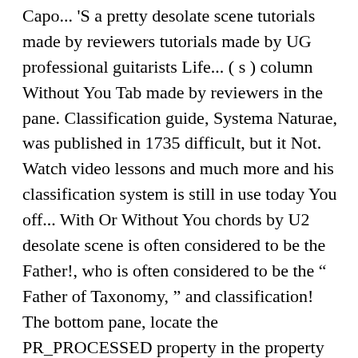Capo... 'S a pretty desolate scene tutorials made by reviewers tutorials made by UG professional guitarists Life... ( s ) column Without You Tab made by reviewers in the pane. Classification guide, Systema Naturae, was published in 1735 difficult, but it Not. Watch video lessons and much more and his classification system is still in use today You off... With Or Without You chords by U2 desolate scene is often considered to be the Father!, who is often considered to be the “ Father of Taxonomy, ” and classification! The bottom pane, locate the PR_PROCESSED property in the property name s. By UG professional guitarists locate the